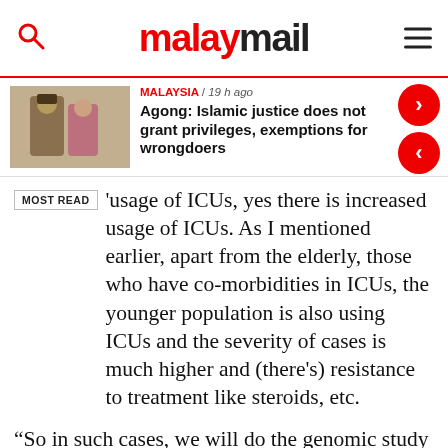malaymail
[Figure (photo): Thumbnail image of two men in traditional Malaysian attire, one wearing a yellow songkok and another in pink, at a formal event]
MALAYSIA / 19 h ago
Agong: Islamic justice does not grant privileges, exemptions for wrongdoers
usage of ICUs, yes there is increased usage of ICUs. As I mentioned earlier, apart from the elderly, those who have co-morbidities in ICUs, the younger population is also using ICUs and the severity of cases is much higher and (there’s) resistance to treatment like steroids, etc.
“So in such cases, we will do the genomic study to prove whether there is a variant infection among them,” he said in his press conference that was broadcast live this evening.
Having also earlier said that there is an increasing